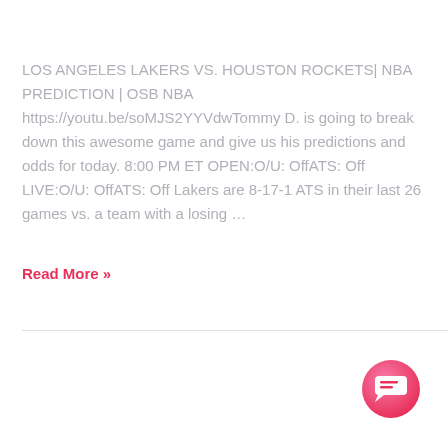LOS ANGELES LAKERS VS. HOUSTON ROCKETS| NBA PREDICTION | OSB NBA https://youtu.be/soMJS2YYVdwTommy D. is going to break down this awesome game and give us his predictions and odds for today. 8:00 PM ET OPEN:O/U: OffATS: Off      LIVE:O/U: OffATS: Off Lakers are 8-17-1 ATS in their last 26 games vs. a team with a losing ...
Read More »
[Figure (other): Pink gradient circular chat button icon in bottom right corner]